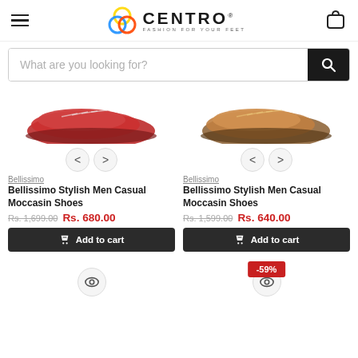[Figure (logo): Centro shoes logo with colored circles and text: CENTRO FASHION FOR YOUR FEET]
What are you looking for?
[Figure (photo): Two Bellissimo men casual moccasin shoes product images with navigation arrows]
Bellissimo
Bellissimo Stylish Men Casual Moccasin Shoes
Rs. 1,699.00  Rs. 680.00
Add to cart
Bellissimo
Bellissimo Stylish Men Casual Moccasin Shoes
Rs. 1,599.00  Rs. 640.00
Add to cart
-59%